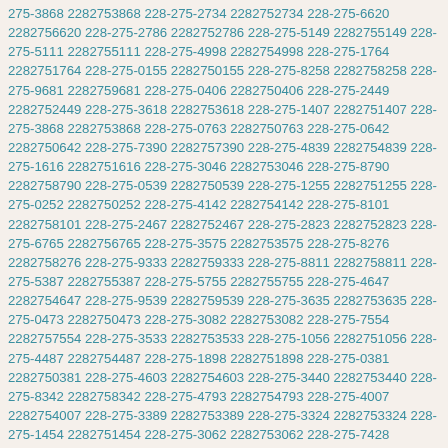275-3868 2282753868 228-275-2734 2282752734 228-275-6620 2282756620 228-275-2786 2282752786 228-275-5149 2282755149 228-275-5111 2282755111 228-275-4998 2282754998 228-275-1764 2282751764 228-275-0155 2282750155 228-275-8258 2282758258 228-275-9681 2282759681 228-275-0406 2282750406 228-275-2449 2282752449 228-275-3618 2282753618 228-275-1407 2282751407 228-275-3868 2282753868 228-275-0763 2282750763 228-275-0642 2282750642 228-275-7390 2282757390 228-275-4839 2282754839 228-275-1616 2282751616 228-275-3046 2282753046 228-275-8790 2282758790 228-275-0539 2282750539 228-275-1255 2282751255 228-275-0252 2282750252 228-275-4142 2282754142 228-275-8101 2282758101 228-275-2467 2282752467 228-275-2823 2282752823 228-275-6765 2282756765 228-275-3575 2282753575 228-275-8276 2282758276 228-275-9333 2282759333 228-275-8811 2282758811 228-275-5387 2282755387 228-275-5755 2282755755 228-275-4647 2282754647 228-275-9539 2282759539 228-275-3635 2282753635 228-275-0473 2282750473 228-275-3082 2282753082 228-275-7554 2282757554 228-275-3533 2282753533 228-275-1056 2282751056 228-275-4487 2282754487 228-275-1898 2282751898 228-275-0381 2282750381 228-275-4603 2282754603 228-275-3440 2282753440 228-275-8342 2282758342 228-275-4793 2282754793 228-275-4007 2282754007 228-275-3389 2282753389 228-275-3324 2282753324 228-275-1454 2282751454 228-275-3062 2282753062 228-275-7428 2282757428 228-275-9156 2282759156 228-275-8177 2282758177 228-275-7092 2282757092 228-275-3487 2282753487 228-275-5664 2282755664 228-275-6845 2282756845 228-275-4421 2282754421 228-275-8545 2282758545 228-275-0566